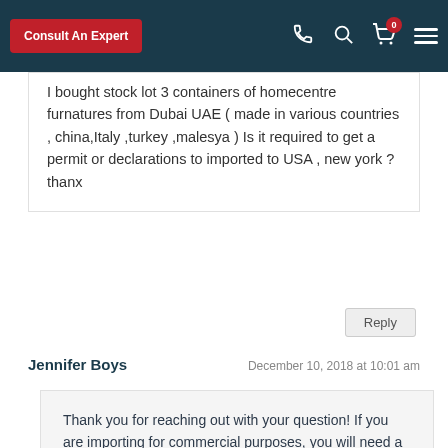Consult An Expert | [phone icon] | [search icon] | [cart icon] 0 | [menu icon]
I bought stock lot 3 containers of homecentre furnatures from Dubai UAE ( made in various countries , china,Italy ,turkey ,malesya ) Is it required to get a permit or declarations to imported to USA , new york ? thanx
Reply
Jennifer Boys
December 10, 2018 at 10:01 am
Thank you for reaching out with your question! If you are importing for commercial purposes, you will need a customs bond to import your containers into the United States. Also, because you are shipping furniture, your import will be subject to additional inspection and potentially additional fees/duties. Someone from our import team will be in touch soon to help you with the process.